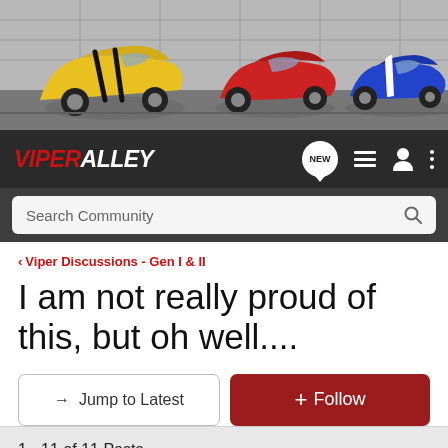[Figure (photo): Banner image showing three Dodge Viper sports cars in a garage setting: yellow with black stripes on the left, red in the center, and blue with white stripes on the right.]
VIPER ALLEY
Search Community
< Viper Discussions - Gen I & II
I am not really proud of this, but oh well....
→ Jump to Latest
+ Follow
1 - 11 of 11 Posts